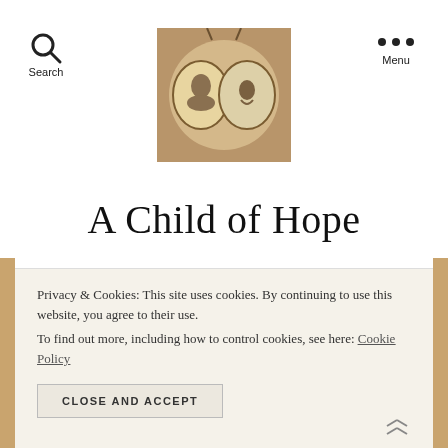[Figure (photo): Blog logo showing an open locket with small illustrations on a warm brown background]
Search   Menu
A Child of Hope
By avoiceinramah   December 28, 2009   No Comments
Privacy & Cookies: This site uses cookies. By continuing to use this website, you agree to their use.
To find out more, including how to control cookies, see here: Cookie Policy
CLOSE AND ACCEPT